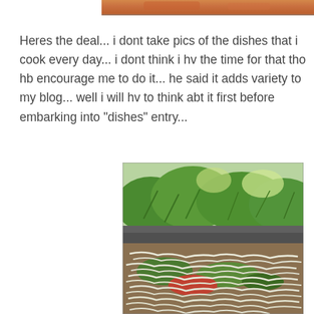[Figure (photo): Partial view of a cooked dish, likely baked/grilled food with reddish-brown color, cropped at top of page]
Heres the deal... i dont take pics of the dishes that i cook every day... i dont think i hv the time for that tho hb encourage me to do it... he said it adds variety to my blog... well i will hv to think abt it first before embarking into "dishes" entry...
[Figure (photo): Photo of a noodle dish with vegetables and grated cheese on top, with green garden plants in the background]